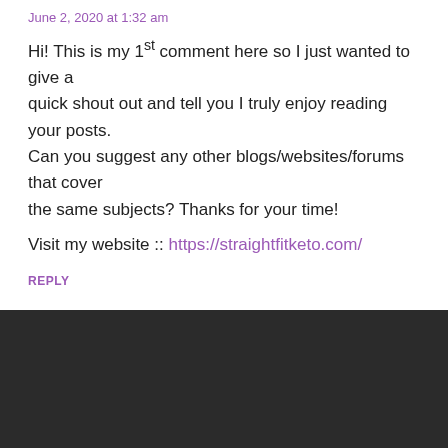June 2, 2020 at 1:32 am
Hi! This is my 1st comment here so I just wanted to give a quick shout out and tell you I truly enjoy reading your posts.
Can you suggest any other blogs/websites/forums that cover the same subjects? Thanks for your time!

Visit my website :: https://straightfitketo.com/
REPLY
[Figure (screenshot): Dark overlay panel with Privacy Preferences dialog, showing a chevron icon, 'Privacy Preferences' text, an 'I Agree' button, and a close X button. Also shows a partial avatar image and 'Hydra-E Face Cream' text below.]